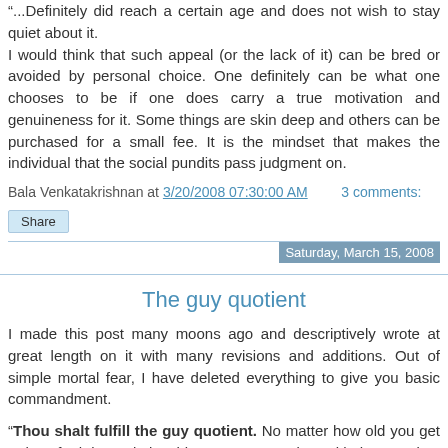"...Definitely did reach a certain age and does not wish to stay quiet about it. I would think that such appeal (or the lack of it) can be bred or avoided by personal choice. One definitely can be what one chooses to be if one does carry a true motivation and genuineness for it. Some things are skin deep and others can be purchased for a small fee. It is the mindset that makes the individual that the social pundits pass judgment on.
Bala Venkatakrishnan at 3/20/2008 07:30:00 AM    3 comments:
Share
Saturday, March 15, 2008
The guy quotient
I made this post many moons ago and descriptively wrote at great length on it with many revisions and additions. Out of simple mortal fear, I have deleted everything to give you basic commandment.
"Thou shalt fulfill the guy quotient. No matter how old you get or how forth in a relationship you are, your time with the guys is